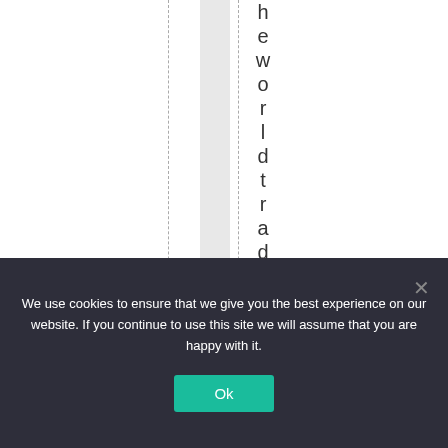heworldtradingsyst
We use cookies to ensure that we give you the best experience on our website. If you continue to use this site we will assume that you are happy with it.